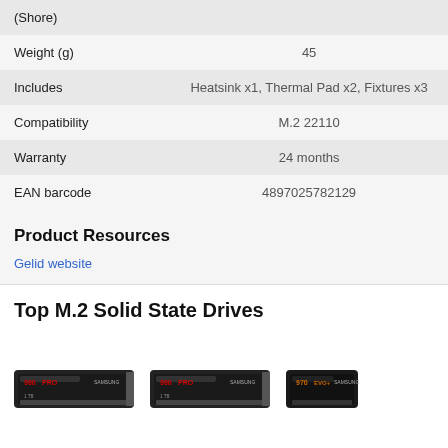|  |  |
| --- | --- |
| (Shore) |  |
| Weight (g) | 45 |
| Includes | Heatsink x1, Thermal Pad x2, Fixtures x3 |
| Compatibility | M.2 22110 |
| Warranty | 24 months |
| EAN barcode | 4897025782129 |
Product Resources
Gelid website
Top M.2 Solid State Drives
[Figure (photo): Three Samsung 980 PRO M.2 SSD product images shown side by side at the bottom of the page]